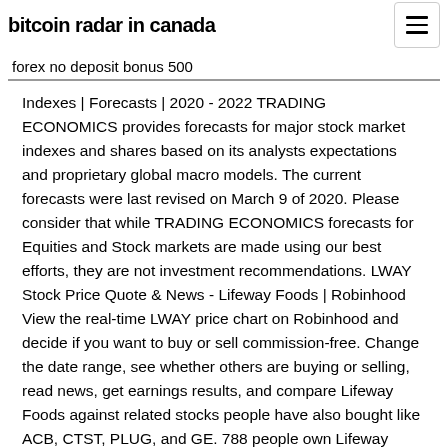bitcoin radar in canada
forex no deposit bonus 500
Indexes | Forecasts | 2020 - 2022 TRADING ECONOMICS provides forecasts for major stock market indexes and shares based on its analysts expectations and proprietary global macro models. The current forecasts were last revised on March 9 of 2020. Please consider that while TRADING ECONOMICS forecasts for Equities and Stock markets are made using our best efforts, they are not investment recommendations. LWAY Stock Price Quote & News - Lifeway Foods | Robinhood View the real-time LWAY price chart on Robinhood and decide if you want to buy or sell commission-free. Change the date range, see whether others are buying or selling, read news, get earnings results, and compare Lifeway Foods against related stocks people have also bought like ACB, CTST, PLUG, and GE. 788 people own Lifeway Foods on Robinhood on April 4, 2020.
•